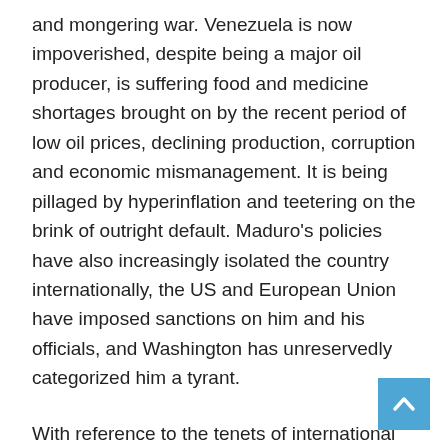and mongering war. Venezuela is now impoverished, despite being a major oil producer, is suffering food and medicine shortages brought on by the recent period of low oil prices, declining production, corruption and economic mismanagement. It is being pillaged by hyperinflation and teetering on the brink of outright default. Maduro's policies have also increasingly isolated the country internationally, the US and European Union have imposed sanctions on him and his officials, and Washington has unreservedly categorized him a tyrant.
With reference to the tenets of international law, the ICJ can only rule that Venezuela is acting disgracefully, arbitrarily and illegally. If Venezuela and Maduro cannot abide and respect the decision of the World Court, then they must bear the consequences of being deemed thugs and outlaws, and brought into line with international norms and consequences,